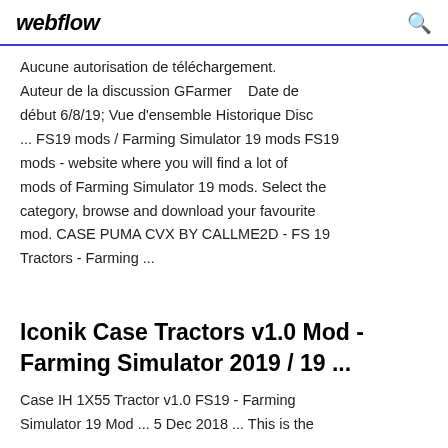webflow
Aucune autorisation de téléchargement. Auteur de la discussion GFarmer   Date de début 6/8/19; Vue d'ensemble Historique Disc ... FS19 mods / Farming Simulator 19 mods FS19 mods - website where you will find a lot of mods of Farming Simulator 19 mods. Select the category, browse and download your favourite mod. CASE PUMA CVX BY CALLME2D - FS 19 Tractors - Farming ...
Iconik Case Tractors v1.0 Mod - Farming Simulator 2019 / 19 ...
Case IH 1X55 Tractor v1.0 FS19 - Farming Simulator 19 Mod ... 5 Dec 2018 ... This is the